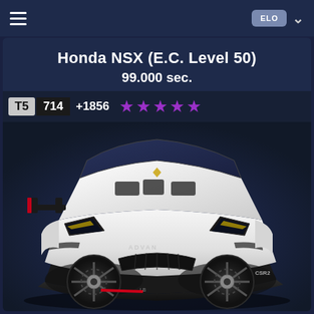≡  [ELO badge] ∨
Honda NSX (E.C. Level 50)
99.000 sec.
T5  714  +1856  ★★★★★
[Figure (photo): White racing car (CSR2 game render) viewed from front-low angle, with ADVAN livery, wide body kit, black wheels, on dark navy background]